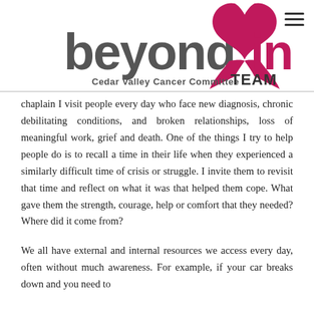[Figure (logo): Beyond Pink Team logo with Cedar Valley Cancer Committee text and pink ribbon]
chaplain I visit people every day who face new diagnosis, chronic debilitating conditions, and broken relationships, loss of meaningful work, grief and death. One of the things I try to help people do is to recall a time in their life when they experienced a similarly difficult time of crisis or struggle. I invite them to revisit that time and reflect on what it was that helped them cope. What gave them the strength, courage, help or comfort that they needed? Where did it come from?
We all have external and internal resources we access every day, often without much awareness. For example, if your car breaks down and you need to